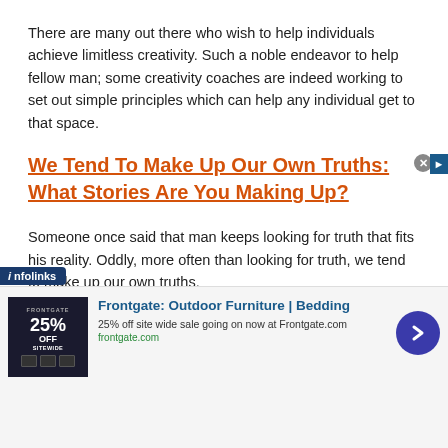There are many out there who wish to help individuals achieve limitless creativity. Such a noble endeavor to help fellow man; some creativity coaches are indeed working to set out simple principles which can help any individual get to that space.
We Tend To Make Up Our Own Truths: What Stories Are You Making Up?
Someone once said that man keeps looking for truth that fits his reality. Oddly, more often than looking for truth, we tend to make up our own truths.
The Source of Growth and Creativity
[Figure (screenshot): Infolinks ad overlay banner showing Frontgate: Outdoor Furniture | Bedding advertisement with 25% off sitewide sale, frontgate.com URL, close button, and blue arrow button.]